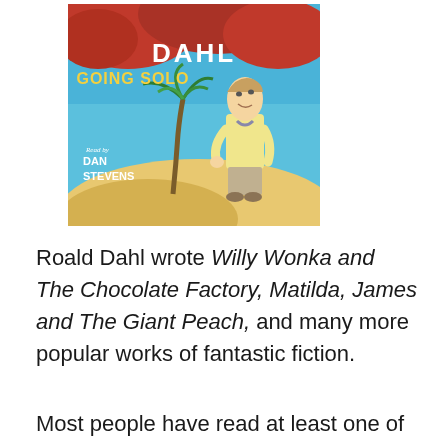[Figure (illustration): Book cover of 'Going Solo' by Roald Dahl, read by Dan Stevens. Shows illustrated figure of a young man on a sandy hill with a palm tree, set against a blue sky background with red clouds. Yellow title text 'GOING SOLO' below the author's name 'DAHL' in white.]
Roald Dahl wrote Willy Wonka and The Chocolate Factory, Matilda, James and The Giant Peach, and many more popular works of fantastic fiction.
Most people have read at least one of